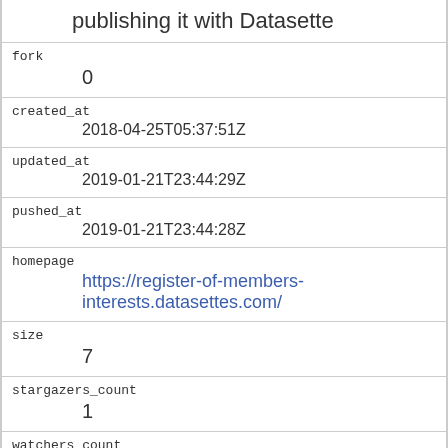publishing it with Datasette
| fork | 0 |
| created_at | 2018-04-25T05:37:51Z |
| updated_at | 2019-01-21T23:44:29Z |
| pushed_at | 2019-01-21T23:44:28Z |
| homepage | https://register-of-members-interests.datasettes.com/ |
| size | 7 |
| stargazers_count | 1 |
| watchers_count | 1 |
| language | Python |